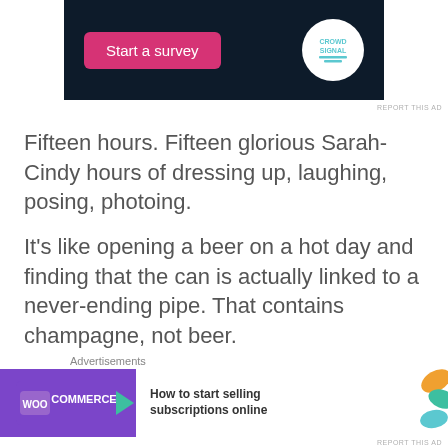[Figure (screenshot): Dark blue/black advertisement banner for Crowdsignal with a pink 'Start a survey' button and white circular Crowdsignal logo]
REPORT THIS AD
Fifteen hours. Fifteen glorious Sarah-Cindy hours of dressing up, laughing, posing, photoing.
It’s like opening a beer on a hot day and finding that the can is actually linked to a never-ending pipe. That contains champagne, not beer.
I’d say that I don’t have words to explain how
Advertisements
[Figure (screenshot): WooCommerce advertisement: purple banner with WooCommerce logo and arrow, white section reading 'How to start selling subscriptions online' with orange and teal leaf graphics]